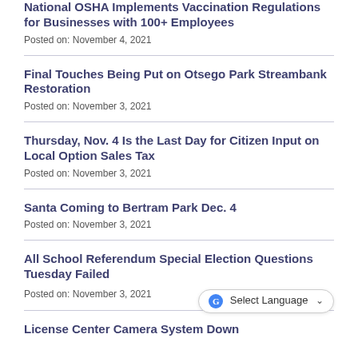National OSHA Implements Vaccination Regulations for Businesses with 100+ Employees
Posted on: November 4, 2021
Final Touches Being Put on Otsego Park Streambank Restoration
Posted on: November 3, 2021
Thursday, Nov. 4 Is the Last Day for Citizen Input on Local Option Sales Tax
Posted on: November 3, 2021
Santa Coming to Bertram Park Dec. 4
Posted on: November 3, 2021
All School Referendum Special Election Questions Tuesday Failed
Posted on: November 3, 2021
License Center Camera System Down